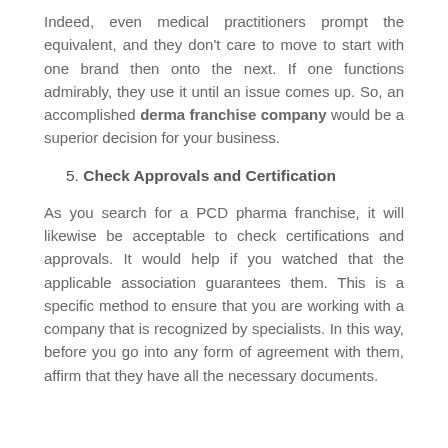Indeed, even medical practitioners prompt the equivalent, and they don't care to move to start with one brand then onto the next. If one functions admirably, they use it until an issue comes up. So, an accomplished derma franchise company would be a superior decision for your business.
5. Check Approvals and Certification
As you search for a PCD pharma franchise, it will likewise be acceptable to check certifications and approvals. It would help if you watched that the applicable association guarantees them. This is a specific method to ensure that you are working with a company that is recognized by specialists. In this way, before you go into any form of agreement with them, affirm that they have all the necessary documents.